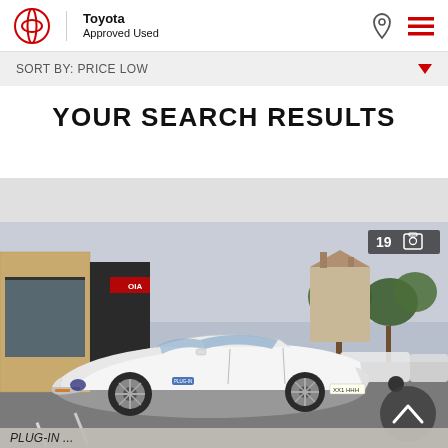Toyota Approved Used
Sort by: Price Low
YOUR SEARCH RESULTS
[Figure (photo): White Toyota Prius plug-in hybrid car parked in a dealership forecourt with other vehicles and buildings in background. Image counter shows 19 photos.]